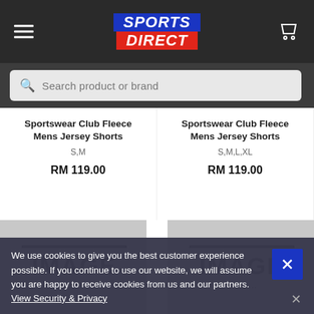SPORTS DIRECT
Search product or brand
Sportswear Club Fleece Mens Jersey Shorts
S,M
RM 119.00
Sportswear Club Fleece Mens Jersey Shorts
S,M,L,XL
RM 119.00
[Figure (photo): IMAGE placeholder for product photo left]
[Figure (photo): IMAGE placeholder for product photo right]
We use cookies to give you the best customer experience possible. If you continue to use our website, we will assume you are happy to receive cookies from us and our partners.
View Security & Privacy